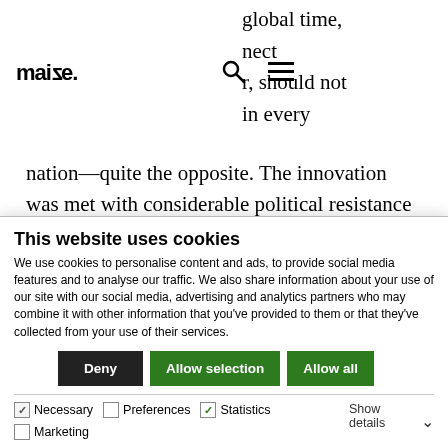maize. [logo] [search icon] [menu icon]
global time, nect r, should not in every
nation—quite the opposite. The innovation was met with considerable political resistance in many states, thus revealing the ideological power of modern time.
But the ideological power of time and its abstract nature
This website uses cookies
We use cookies to personalise content and ads, to provide social media features and to analyse our traffic. We also share information about your use of our site with our social media, advertising and analytics partners who may combine it with other information that you've provided to them or that they've collected from your use of their services.
Deny | Allow selection | Allow all
Necessary  Preferences  Statistics  Marketing  Show details